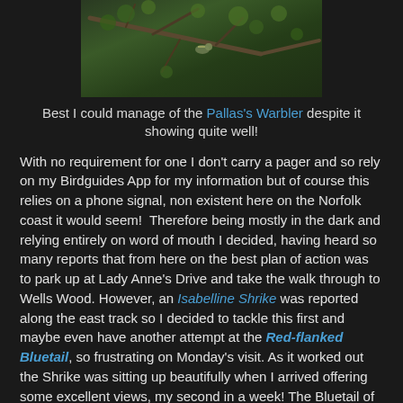[Figure (photo): Photograph of a bird (Pallas's Warbler) perched among tree branches with green foliage, dark background.]
Best I could manage of the Pallas's Warbler despite it showing quite well!
With no requirement for one I don't carry a pager and so rely on my Birdguides App for my information but of course this relies on a phone signal, non existent here on the Norfolk coast it would seem!  Therefore being mostly in the dark and relying entirely on word of mouth I decided, having heard so many reports that from here on the best plan of action was to park up at Lady Anne's Drive and take the walk through to Wells Wood. However, an Isabelline Shrike was reported along the east track so I decided to tackle this first and maybe even have another attempt at the Red-flanked Bluetail, so frustrating on Monday's visit. As it worked out the Shrike was sitting up beautifully when I arrived offering some excellent views, my second in a week! The Bluetail of course was a different matter. When I arrived I was quite surprised to find few birders on site, this until I discovered that the viewing area had moved almost 180 degrees to the